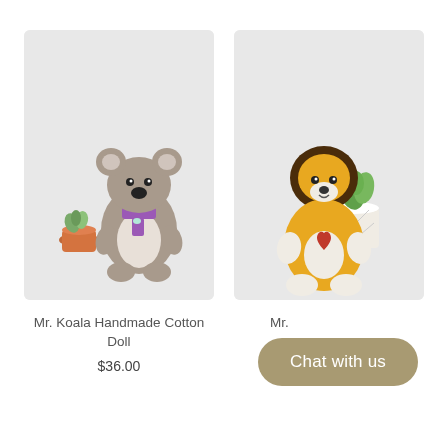[Figure (photo): Crochet koala stuffed animal with purple scarf and small succulent plant in terracotta pot on white background]
Mr. Koala Handmade Cotton Doll
$36.00
[Figure (photo): Crochet yellow lion stuffed animal with brown mane and red heart on chest, with green plant in white geometric pot on white background]
Mr. [Lion] [Handmade Cotton Doll]
$36.00
Chat with us